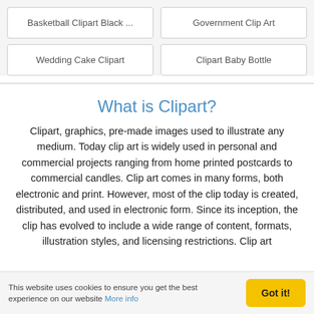Basketball Clipart Black ...
Government Clip Art
Wedding Cake Clipart
Clipart Baby Bottle
What is Clipart?
Clipart, graphics, pre-made images used to illustrate any medium. Today clip art is widely used in personal and commercial projects ranging from home printed postcards to commercial candles. Clip art comes in many forms, both electronic and print. However, most of the clip today is created, distributed, and used in electronic form. Since its inception, the clip has evolved to include a wide range of content, formats, illustration styles, and licensing restrictions. Clip art
This website uses cookies to ensure you get the best experience on our website More info